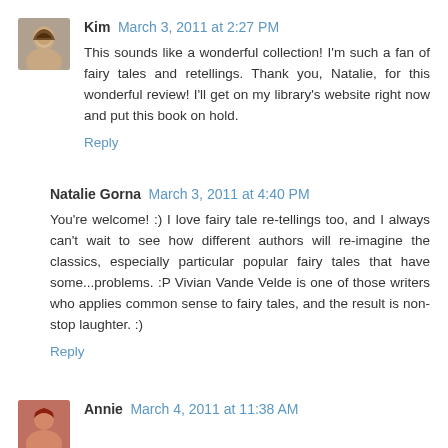Kim March 3, 2011 at 2:27 PM
This sounds like a wonderful collection! I'm such a fan of fairy tales and retellings. Thank you, Natalie, for this wonderful review! I'll get on my library's website right now and put this book on hold.
Reply
Natalie Gorna March 3, 2011 at 4:40 PM
You're welcome! :) I love fairy tale re-tellings too, and I always can't wait to see how different authors will re-imagine the classics, especially particular popular fairy tales that have some...problems. :P Vivian Vande Velde is one of those writers who applies common sense to fairy tales, and the result is non-stop laughter. :)
Reply
Annie March 4, 2011 at 11:38 AM